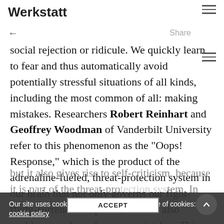Werkstatt
social rejection or ridicule. We quickly learn to fear and thus automatically avoid potentially stressful situations of all kinds, including the most common of all: making mistakes. Researchers Robert Reinhart and Geoffrey Woodman of Vanderbilt University refer to this phenomenon as the “Oops! Response,” which is the product of the adrenaline-fueled, threat-protection system in our brain that not only governs our fight-flight-surrender response, but that also enables us to learn from our mistakes. This response is
but it also gives rise to self-criticism, because it is part of the threat-protection system. In other
Our site uses cookies. Learn more about our use of cookies: cookie policy
ACCEPT